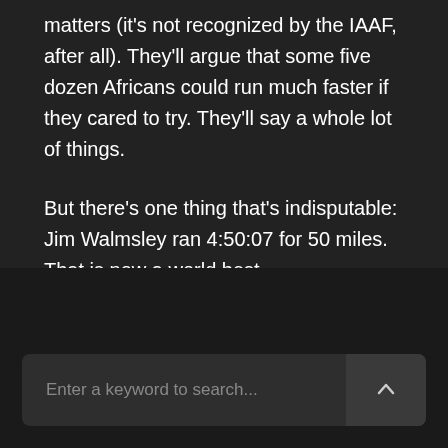matters (it's not recognized by the IAAF, after all). They'll argue that some five dozen Africans could run much faster if they cared to try. They'll say a whole lot of things.
But there's one thing that's indisputable: Jim Walmsley ran 4:50:07 for 50 miles. That is now a world best.